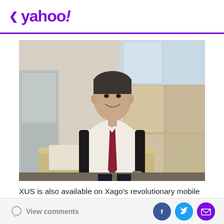< yahoo!
[Figure (photo): Professional man in white shirt and dark red tie sitting at a desk in a modern office, smiling at camera, with wooden cabinet furniture and windows in background]
XUS is also available on Xago's revolutionary mobile app, of which a new version was released recently. The app
View comments